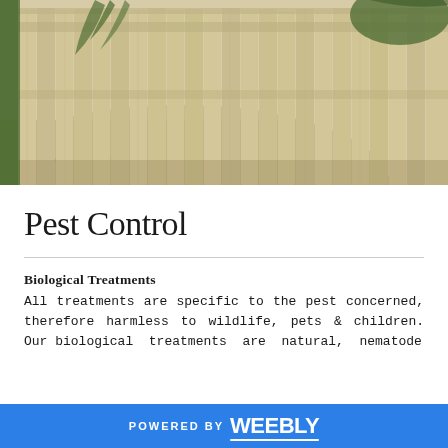[Figure (photo): Outdoor garden scene with a wooden vertical plank fence and gravel path, with palm fronds visible in the background]
Pest Control
Biological Treatments
All treatments are specific to the pest concerned, therefore harmless to wildlife, pets & children. Our biological treatments are natural, nematode
POWERED BY weebly